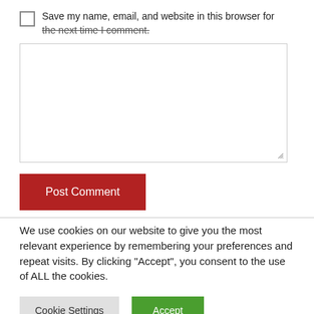Save my name, email, and website in this browser for the next time I comment.
[Figure (other): Empty textarea input box with resize handle in bottom-right corner]
Post Comment
We use cookies on our website to give you the most relevant experience by remembering your preferences and repeat visits. By clicking “Accept”, you consent to the use of ALL the cookies.
Cookie Settings
Accept